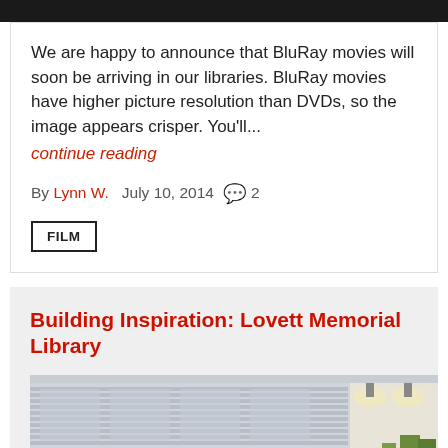[Figure (photo): Dark top image bar (partial photo cropped at top)]
We are happy to announce that BluRay movies will soon be arriving in our libraries. BluRay movies have higher picture resolution than DVDs, so the image appears crisper. You'll...
continue reading
By Lynn W.   July 10, 2014  💬 2
FILM
Building Inspiration: Lovett Memorial Library
[Figure (photo): Architectural rendering of Lovett Memorial Library interior/exterior showing modern building with large horizontal windows, pendant lights, and green accents]